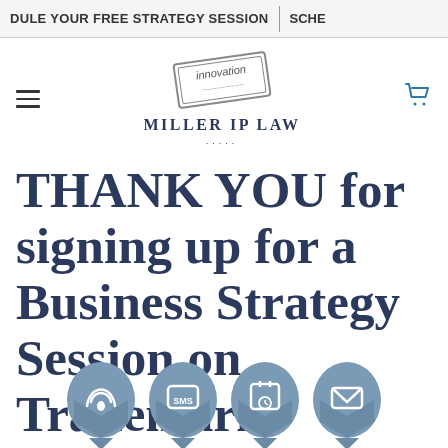ULE YOUR FREE STRATEGY SESSION | SCHE
[Figure (logo): Miller IP Law logo with an innovation stamp graphic and the text MILLER IP LAW]
THANK YOU for signing up for a Business Strategy Session on Trademarks